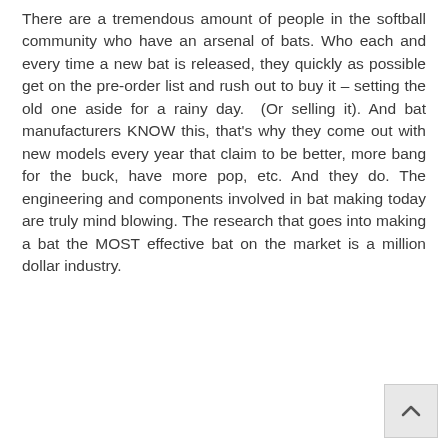There are a tremendous amount of people in the softball community who have an arsenal of bats. Who each and every time a new bat is released, they quickly as possible get on the pre-order list and rush out to buy it – setting the old one aside for a rainy day.  (Or selling it). And bat manufacturers KNOW this, that's why they come out with new models every year that claim to be better, more bang for the buck, have more pop, etc. And they do. The engineering and components involved in bat making today are truly mind blowing. The research that goes into making a bat the MOST effective bat on the market is a million dollar industry.